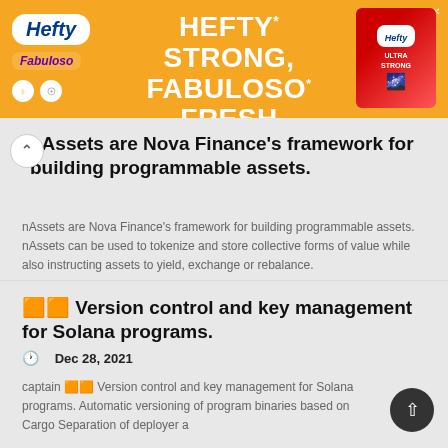[Figure (screenshot): Orange advertisement banner for Hefty brand: 'HEFTY STRONG, FABULOSO FRESH' with Hefty logo, Fabuloso logo, and product image on right side]
nAssets are Nova Finance's framework for building programmable assets.
nAssets are Nova Finance's framework for building programmable assets. nAssets can be used to tokenize and store collective forms of value while also instructing assets to yield, exchange or rebalance.
Dec 28, 2021
🟧🟧 Version control and key management for Solana programs.
captain 🟧🟧 Version control and key management for Solana programs. Automatic versioning of program binaries based on Cargo Separation of deployer a